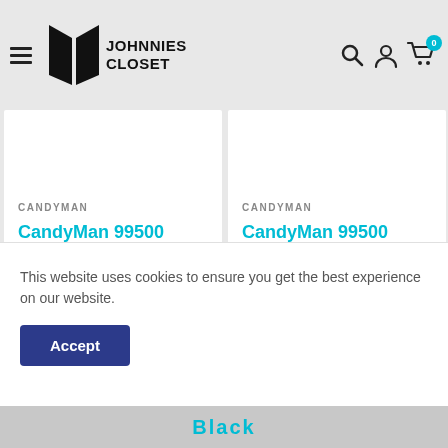Johnnies Closet - navigation header with hamburger menu, logo, search, account, and cart (0) icons
CANDYMAN
CandyMan 99500 Zipper-Mesh Bikini Red
£24.00
See product details
CANDYMAN
CandyMan 99500 Zip... Black
£24.00
See product details
This website uses cookies to ensure you get the best experience on our website.
Accept
Black